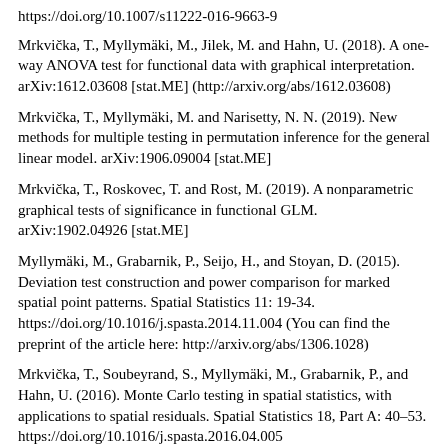https://doi.org/10.1007/s11222-016-9663-9
Mrkvička, T., Myllymäki, M., Jilek, M. and Hahn, U. (2018). A one-way ANOVA test for functional data with graphical interpretation. arXiv:1612.03608 [stat.ME] (http://arxiv.org/abs/1612.03608)
Mrkvička, T., Myllymäki, M. and Narisetty, N. N. (2019). New methods for multiple testing in permutation inference for the general linear model. arXiv:1906.09004 [stat.ME]
Mrkvička, T., Roskovec, T. and Rost, M. (2019). A nonparametric graphical tests of significance in functional GLM. arXiv:1902.04926 [stat.ME]
Myllymäki, M., Grabarnik, P., Seijo, H., and Stoyan, D. (2015). Deviation test construction and power comparison for marked spatial point patterns. Spatial Statistics 11: 19-34. https://doi.org/10.1016/j.spasta.2014.11.004 (You can find the preprint of the article here: http://arxiv.org/abs/1306.1028)
Mrkvička, T., Soubeyrand, S., Myllymäki, M., Grabarnik, P., and Hahn, U. (2016). Monte Carlo testing in spatial statistics, with applications to spatial residuals. Spatial Statistics 18, Part A: 40–53. https://doi.org/10.1016/j.spasta.2016.04.005